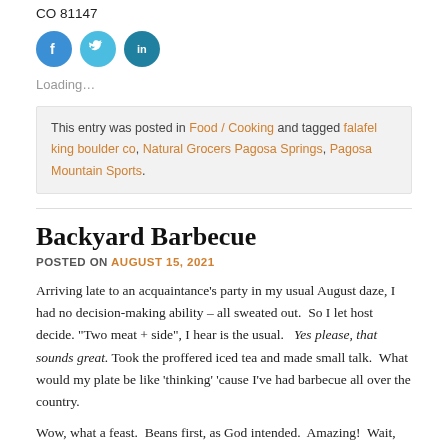CO 81147
[Figure (illustration): Three social media icon circles: Facebook (blue), Twitter (light blue), LinkedIn (teal)]
Loading...
This entry was posted in Food / Cooking and tagged falafel king boulder co, Natural Grocers Pagosa Springs, Pagosa Mountain Sports.
Backyard Barbecue
POSTED ON AUGUST 15, 2021
Arriving late to an acquaintance's party in my usual August daze, I had no decision-making ability – all sweated out.  So I let host decide. "Two meat + side", I hear is the usual.   Yes please, that sounds great.  Took the proffered iced tea and made small talk.  What would my plate be like 'thinking' 'cause I've had barbecue all over the country.
Wow, what a feast.  Beans first, as God intended.  Amazing!  Wait, that